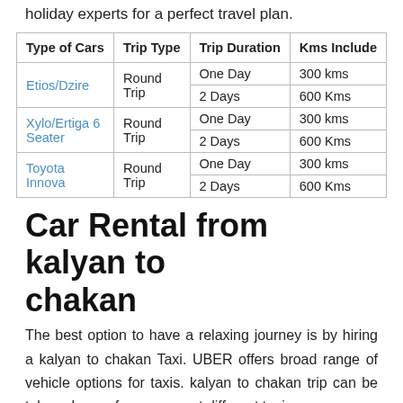holiday experts for a perfect travel plan.
| Type of Cars | Trip Type | Trip Duration | Kms Include |
| --- | --- | --- | --- |
| Etios/Dzire | Round Trip | One Day | 300 kms |
|  |  | 2 Days | 600 Kms |
| Xylo/Ertiga 6 Seater | Round Trip | One Day | 300 kms |
|  |  | 2 Days | 600 Kms |
| Toyota Innova | Round Trip | One Day | 300 kms |
|  |  | 2 Days | 600 Kms |
Car Rental from kalyan to chakan
The best option to have a relaxing journey is by hiring a kalyan to chakan Taxi. UBER offers broad range of vehicle options for taxis. kalyan to chakan trip can be taken chosen from amongst different taxi